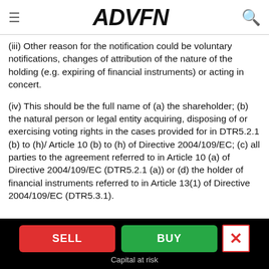ADVFN
(iii) Other reason for the notification could be voluntary notifications, changes of attribution of the nature of the holding (e.g. expiring of financial instruments) or acting in concert.
(iv) This should be the full name of (a) the shareholder; (b) the natural person or legal entity acquiring, disposing of or exercising voting rights in the cases provided for in DTR5.2.1 (b) to (h)/ Article 10 (b) to (h) of Directive 2004/109/EC; (c) all parties to the agreement referred to in Article 10 (a) of Directive 2004/109/EC (DTR5.2.1 (a)) or (d) the holder of financial instruments referred to in Article 13(1) of Directive 2004/109/EC (DTR5.3.1).
SELL | BUY | Capital at risk